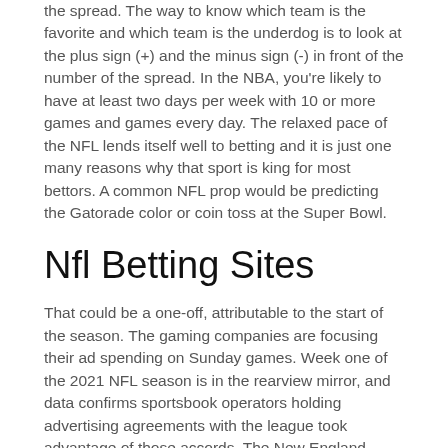the spread. The way to know which team is the favorite and which team is the underdog is to look at the plus sign (+) and the minus sign (-) in front of the number of the spread. In the NBA, you're likely to have at least two days per week with 10 or more games and games every day. The relaxed pace of the NFL lends itself well to betting and it is just one many reasons why that sport is king for most bettors. A common NFL prop would be predicting the Gatorade color or coin toss at the Super Bowl.
Nfl Betting Sites
That could be a one-off, attributable to the start of the season. The gaming companies are focusing their ad spending on Sunday games. Week one of the 2021 NFL season is in the rearview mirror, and data confirms sportsbook operators holding advertising agreements with the league took advantage of those accords. The New England Patriots (+1200) were the NFL's top squad in the last decade with three championships.
NFL Betting Lines pulls in live spreads, totals and weather so you can see an simple and accurate overview of the game environment. We've done the hard yards so to speak, reviewing